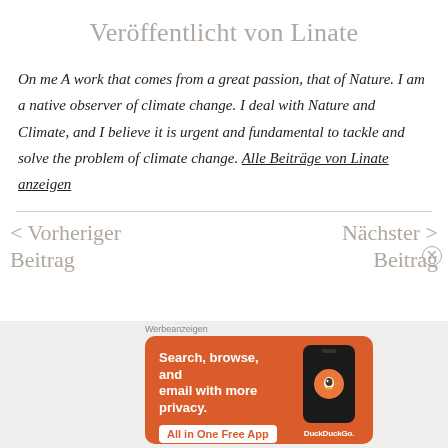Veröffentlicht von Linate
On me A work that comes from a great passion, that of Nature. I am a native observer of climate change. I deal with Nature and Climate, and I believe it is urgent and fundamental to tackle and solve the problem of climate change. Alle Beiträge von Linate anzeigen
< Vorheriger Beitrag
Nächster Beitrag >
[Figure (screenshot): DuckDuckGo advertisement banner with orange background. Text reads 'Search, browse, and email with more privacy. All in One Free App' with a phone mockup and DuckDuckGo logo. Labeled 'Werbeanzeigen' above.]